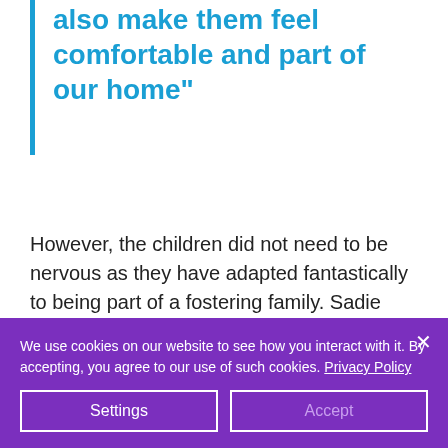also make them feel comfortable and part of our home"
However, the children did not need to be nervous as they have adapted fantastically to being part of a fostering family. Sadie goes on
We use cookies on our website to see how you interact with it. By accepting, you agree to our use of such cookies. Privacy Policy